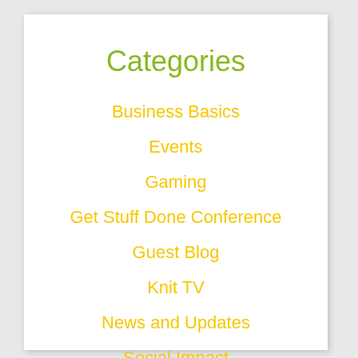Categories
Business Basics
Events
Gaming
Get Stuff Done Conference
Guest Blog
Knit TV
News and Updates
Social Impact
Social Media Marketing
Startup Life